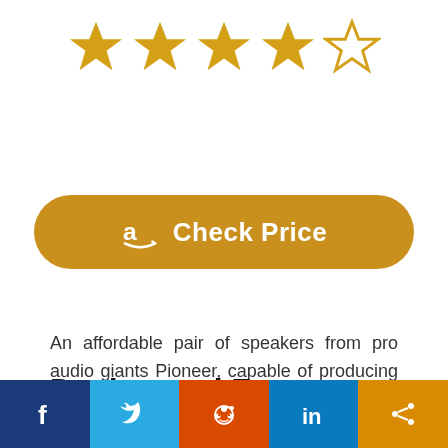[Figure (other): Five stars rating: four full gold stars and one half/empty gold star]
[Figure (other): Amazon Check Price button with Amazon logo icon]
An affordable pair of speakers from pro audio giants Pioneer, capable of producing professional-quality sound.
Design and Features
Social share bar: Facebook, Twitter, Reddit, LinkedIn, Share